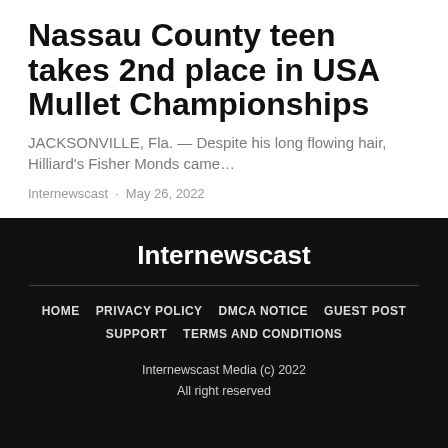Nassau County teen takes 2nd place in USA Mullet Championships
JACKSONVILLE, Fla. — Despite his long flowing hair, Hilliard's Fisher Monds came…
Internewscast · May 26, 2022
Internewscast
HOME · PRIVACY POLICY · DMCA NOTICE · GUEST POST · SUPPORT · TERMS AND CONDITIONS
Internewscast Media (c) 2022
All right reserved